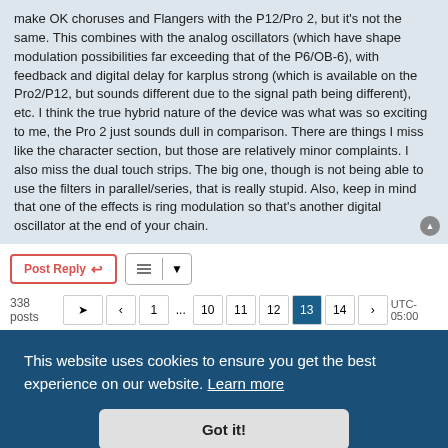make OK choruses and Flangers with the P12/Pro 2, but it's not the same. This combines with the analog oscillators (which have shape modulation possibilities far exceeding that of the P6/OB-6), with feedback and digital delay for karplus strong (which is available on the Pro2/P12, but sounds different due to the signal path being different), etc. I think the true hybrid nature of the device was what was so exciting to me, the Pro 2 just sounds dull in comparison. There are things I miss like the character section, but those are relatively minor complaints. I also miss the dual touch strips. The big one, though is not being able to use the filters in parallel/series, that is really stupid. Also, keep in mind that one of the effects is ring modulation so that's another digital oscillator at the end of your chain.
[Figure (screenshot): Forum toolbar with Post Reply button and sort button]
[Figure (screenshot): Pagination bar showing 338 posts and page buttons: back, 1, ..., 10, 11, 12, 13 (active), 14, forward]
[Figure (screenshot): Cookie consent overlay: 'This website uses cookies to ensure you get the best experience on our website. Learn more' with 'Got it!' button]